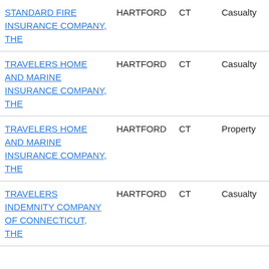| Company | City | State | Line | Date |
| --- | --- | --- | --- | --- |
| STANDARD FIRE INSURANCE COMPANY, THE | HARTFORD | CT | Casualty | Dec 10, 2021 |
| TRAVELERS HOME AND MARINE INSURANCE COMPANY, THE | HARTFORD | CT | Casualty | Dec 10, 2021 |
| TRAVELERS HOME AND MARINE INSURANCE COMPANY, THE | HARTFORD | CT | Property | Dec 10, 2021 |
| TRAVELERS INDEMNITY COMPANY OF CONNECTICUT, THE | HARTFORD | CT | Casualty | Dec 10, 2021 |